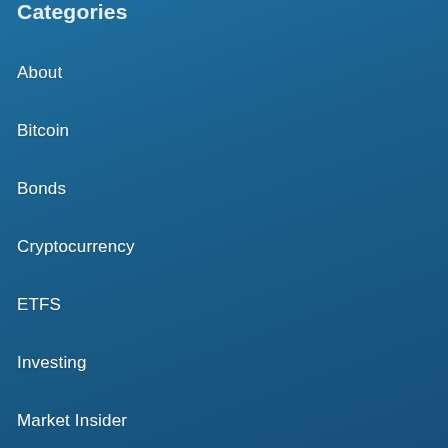Categories
About
Bitcoin
Bonds
Cryptocurrency
ETFS
Investing
Market Insider
Real Estate
Retirement
Stock Market
Trader Talk